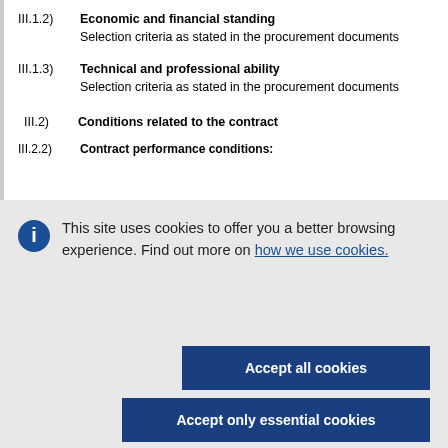III.1.2) Economic and financial standing
Selection criteria as stated in the procurement documents
III.1.3) Technical and professional ability
Selection criteria as stated in the procurement documents
III.2) Conditions related to the contract
III.2.2) Contract performance conditions:
This site uses cookies to offer you a better browsing experience. Find out more on how we use cookies.
Accept all cookies
Accept only essential cookies